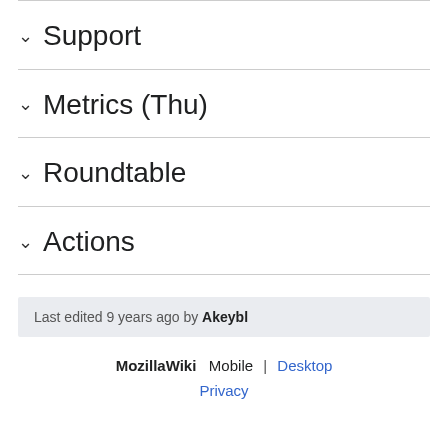Support
Metrics (Thu)
Roundtable
Actions
Last edited 9 years ago by Akeybl
MozillaWiki  Mobile | Desktop
Privacy